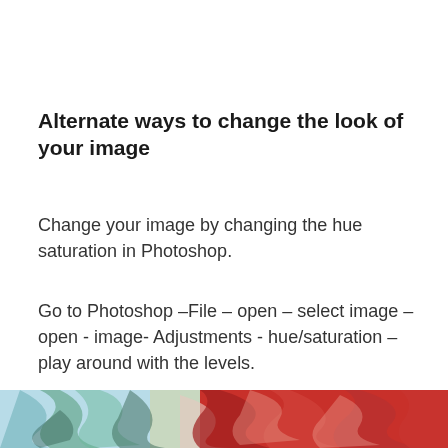Alternate ways to change the look of your image
Change your image by changing the hue saturation in Photoshop.
Go to Photoshop –File – open – select image – open - image- Adjustments - hue/saturation – play around with the levels.
[Figure (photo): Partial view of a colorful image with red and teal tones, showing abstract swirling patterns, cropped at the bottom of the page.]